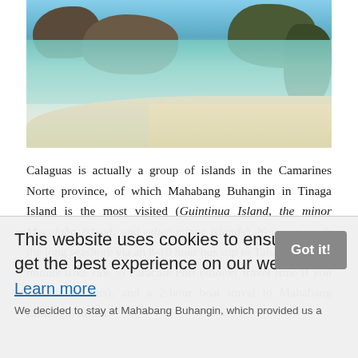[Figure (photo): Photo of a tropical beach scene at Calaguas / Mahabang Buhangin, showing clear turquoise water, white sand, and rocky forested islands in the background.]
Calaguas is actually a group of islands in the Camarines Norte province, of which Mahabang Buhangin in Tinaga Island is the most visited (Guintinua Island, the minor Maculabo Island, and other minor islands). You can reach the long seashore via an 8-10 hour bus trip to Talobatib, a 45-minute trike ride to Paracale Port (shorter travel time if you get on the bus), and a 2-hour boat travel to Mahabang Buhangin beach.
This website uses cookies to ensure you get the best experience on our website.
Learn more
We decided to stay at Mahabang Buhangin, which provided us a beautiful vista. I was ready to jump into the water the moment we